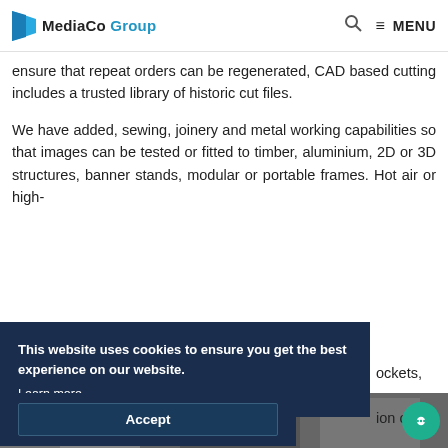MediaCo Group — MENU
ensure that repeat orders can be regenerated, CAD based cutting includes a trusted library of historic cut files.
We have added, sewing, joinery and metal working capabilities so that images can be tested or fitted to timber, aluminium, 2D or 3D structures, banner stands, modular or portable frames. Hot air or high- [partially obscured] ockets, [partially obscured] ion of
This website uses cookies to ensure you get the best experience on our website. Learn more
Accept
[Figure (photo): Bottom portion of the page showing a partial photograph, partially obscured by the cookie banner.]